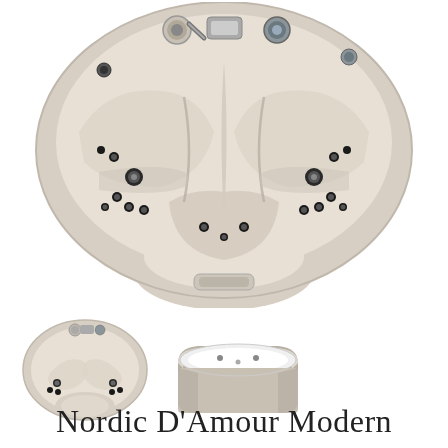[Figure (photo): Top-down aerial view of a heart-shaped/rounded two-person hot tub spa in beige/champagne color with multiple jets visible, two seat areas, and equipment fittings at the top edge]
[Figure (photo): Small thumbnail: top-down view of the same heart-shaped hot tub]
[Figure (photo): Small thumbnail: side/perspective view of the hot tub showing beige cabinet exterior and white interior shell]
Nordic D'Amour Modern